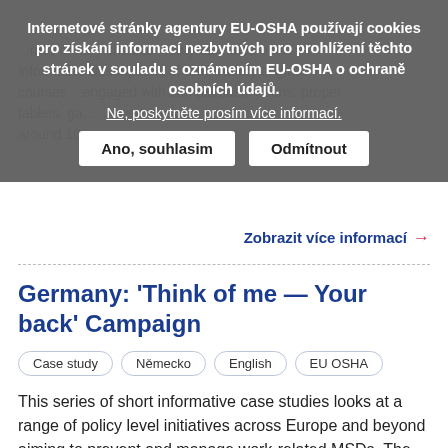Internetové stránky agentury EU-OSHA používají cookies pro získání informací nezbytných pro prohlížení těchto stránek v souladu s oznámením EU-OSHA o ochraně osobních údajů.
Ne, poskytněte prosím více informací.
Ano, souhlasim | Odmítnout
Zobrazit více informací →
Germany: 'Think of me — Your back' Campaign
Case study
Německo
English
EU OSHA
This series of short informative case studies looks at a range of policy level initiatives across Europe and beyond aiming to prevent and manage work-related MSDs. The studies focus on achievements, factors contributing to their success and